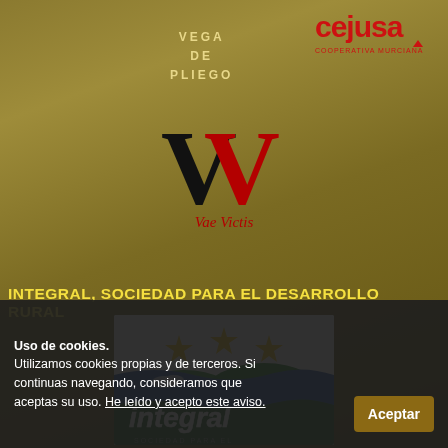[Figure (logo): Cejusa logo in red text top right]
VEGA
DE
PLIEGO
[Figure (logo): VV logo with black and red V letters]
Vae Victis
INTEGRAL, SOCIEDAD PARA EL DESARROLLO RURAL
[Figure (logo): Integral, Sociedad para el Desarrollo Rural logo with stars and landscape]
Uso de cookies.
Utilizamos cookies propias y de terceros. Si continuas navegando, consideramos que aceptas su uso. He leído y acepto este aviso.